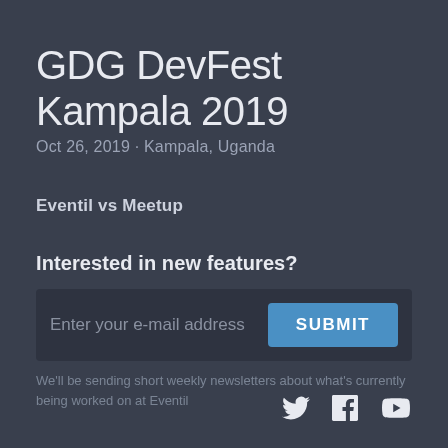GDG DevFest Kampala 2019
Oct 26, 2019 · Kampala, Uganda
Eventil vs Meetup
Interested in new features?
Enter your e-mail address
SUBMIT
We'll be sending short weekly newsletters about what's currently being worked on at Eventil
[Figure (other): Social media icons: Twitter, Facebook, YouTube]